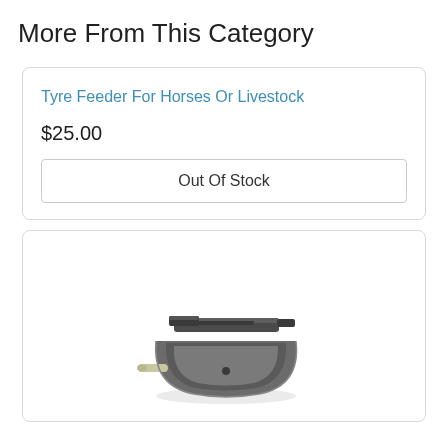More From This Category
Tyre Feeder For Horses Or Livestock
$25.00
Out Of Stock
[Figure (photo): A grey plastic automatic water bowl/trough with a float valve mechanism and a small outlet nozzle on the side, photographed on a white background.]